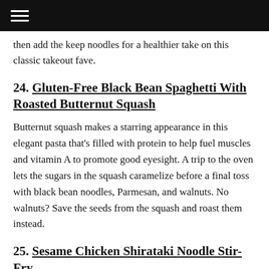≡
then add the keep noodles for a healthier take on this classic takeout fave.
24. Gluten-Free Black Bean Spaghetti With Roasted Butternut Squash
Butternut squash makes a starring appearance in this elegant pasta that's filled with protein to help fuel muscles and vitamin A to promote good eyesight. A trip to the oven lets the sugars in the squash caramelize before a final toss with black bean noodles, Parmesan, and walnuts. No walnuts? Save the seeds from the squash and roast them instead.
25. Sesame Chicken Shirataki Noodle Stir-Fry